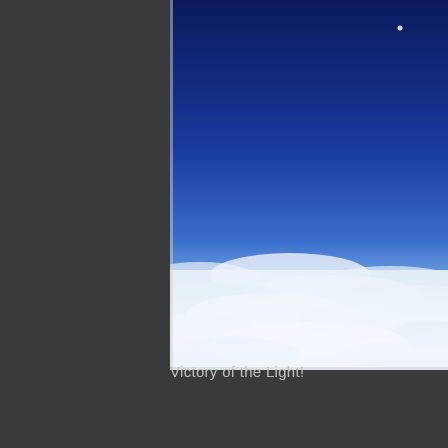[Figure (photo): Aerial photograph showing a deep blue sky with a small white dot (possibly moon or aircraft) in the upper right, transitioning to lighter blue near the horizon, above a layer of white clouds viewed from above. The photo is positioned in the upper right portion of a dark gray background, with the left edge and bottom of the photo visible as a white/light border.]
Victory of the Light!